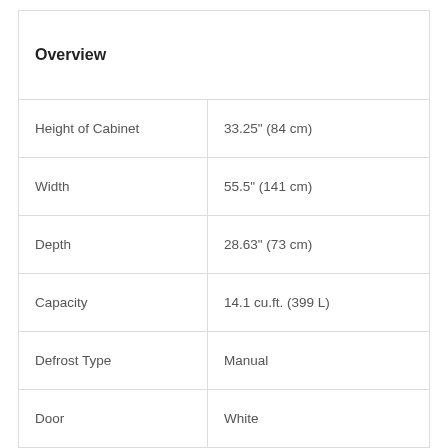| Overview |  |
| --- | --- |
| Height of Cabinet | 33.25" (84 cm) |
| Width | 55.5" (141 cm) |
| Depth | 28.63" (73 cm) |
| Capacity | 14.1 cu.ft. (399 L) |
| Defrost Type | Manual |
| Door | White |
| Cabinet | White |